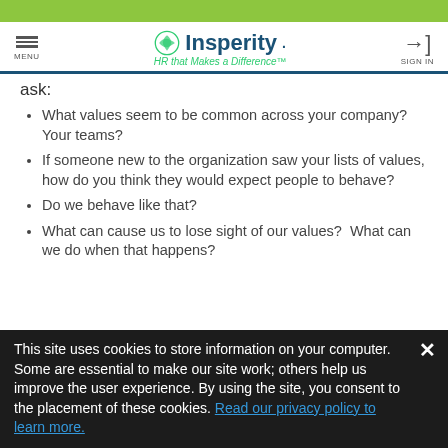MENU | Insperity - HR that Makes a Difference™ | SIGN IN
ask:
What values seem to be common across your company? Your teams?
If someone new to the organization saw your lists of values, how do you think they would expect people to behave?
Do we behave like that?
What can cause us to lose sight of our values?  What can we do when that happens?
This site uses cookies to store information on your computer. Some are essential to make our site work; others help us improve the user experience. By using the site, you consent to the placement of these cookies. Read our privacy policy to learn more.